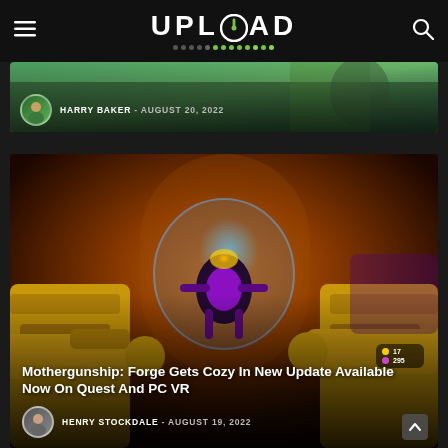UPLOAD
[Figure (screenshot): Partially visible article card with a green outdoor game scene, authored by Harry Baker on August 20, 2022]
HARRY BAKER - AUGUST 20, 2022
[Figure (screenshot): Mothergunship: Forge VR game screenshot showing weapons and a glowing enemy in a dark sci-fi corridor with orange/red lighting]
Mothergunship: Forge Gets Cozy In New Update Available Now On Quest And PC VR
HENRY STOCKDALE - AUGUST 19, 2022